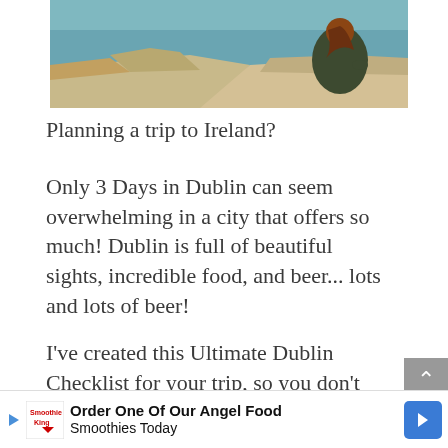[Figure (photo): Person with dark hair sitting on a cliff edge overlooking the sea, wearing a dark green outfit, with dry grass in the foreground and blue-green water in the background.]
Planning a trip to Ireland?
Only 3 Days in Dublin can seem overwhelming in a city that offers so much! Dublin is full of beautiful sights, incredible food, and beer... lots and lots of beer!
I've created this Ultimate Dublin Checklist for your trip, so you don't miss a thing.
Order One Of Our Angel Food Smoothies Today